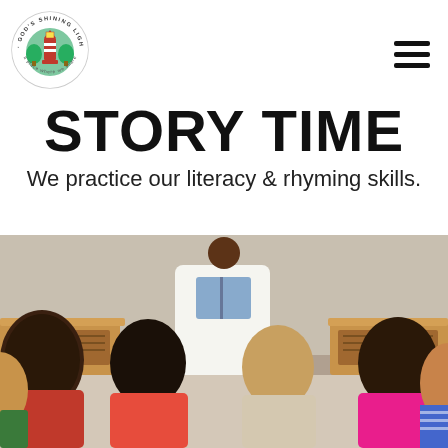[Figure (logo): God's Shining Light Preschool circular logo with lighthouse and trees]
STORY TIME
We practice our literacy & rhyming skills.
[Figure (photo): Children sitting on the floor listening to a teacher reading a book in a classroom setting, viewed from behind]